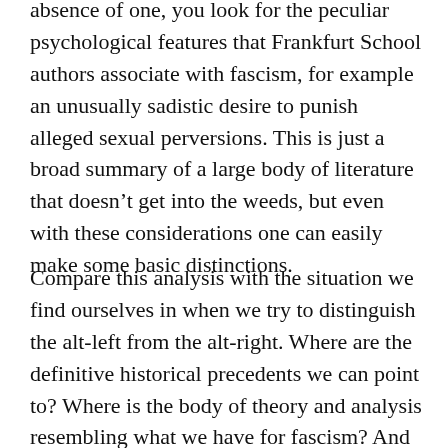absence of one, you look for the peculiar psychological features that Frankfurt School authors associate with fascism, for example an unusually sadistic desire to punish alleged sexual perversions. This is just a broad summary of a large body of literature that doesn't get into the weeds, but even with these considerations one can easily make some basic distinctions.
Compare this analysis with the situation we find ourselves in when we try to distinguish the alt-left from the alt-right. Where are the definitive historical precedents we can point to? Where is the body of theory and analysis resembling what we have for fascism? And when capitalist ideology works with notions of fascism that are completely ad hoc and unmoored from these conventions and